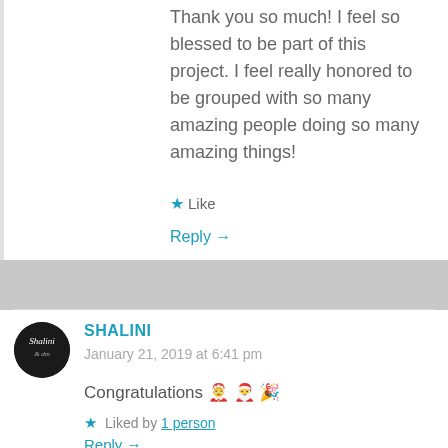Thank you so much! I feel so blessed to be part of this project. I feel really honored to be grouped with so many amazing people doing so many amazing things!
★ Like
Reply →
SHALINI
January 21, 2019 at 6:41 pm
Congratulations 🤶 🎅 🎉
★ Liked by 1 person
Reply →